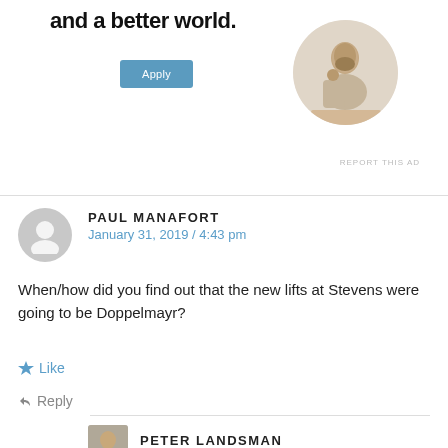and a better world.
[Figure (illustration): A blue Apply button for a job/program advertisement]
[Figure (photo): Circular cropped photo of a man sitting at a desk thinking, wearing a beige t-shirt]
REPORT THIS AD
PAUL MANAFORT
January 31, 2019 / 4:43 pm
When/how did you find out that the new lifts at Stevens were going to be Doppelmayr?
Like
Reply
PETER LANDSMAN